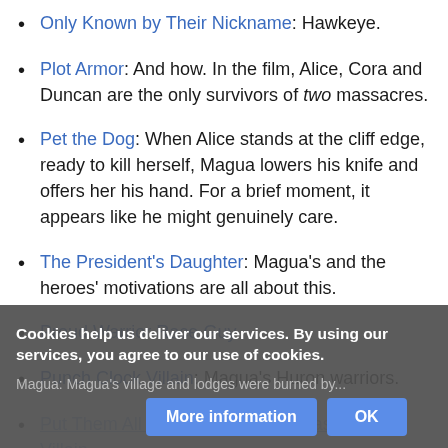Only Known by Their Nickname: Hawkeye.
Plot Armor: And how. In the film, Alice, Cora and Duncan are the only survivors of two massacres.
Pet the Dog: When Alice stands at the cliff edge, ready to kill herself, Magua lowers his knife and offers her his hand. For a brief moment, it appears like he might genuinely care.
The President's Daughter: Magua's and the heroes' motivations are all about this.
Proud Warrior Race Guy
Punch Clock Villain: Magua's Huron warriors.
Put Them All Out of My Misery / Alas, Poor Villain
Magua: Magua's village and lodges were burned by...
Cookies help us deliver our services. By using our services, you agree to our use of cookies.